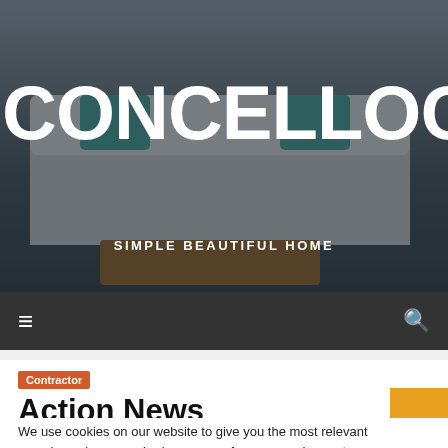[Figure (screenshot): Website hero banner showing a living room with sofa, teal pillows, and coffee table, with dark overlay]
CONCELLOCOSPEIT
SIMPLE BEAUTIFUL HOME
[Figure (screenshot): Dark navigation bar with hamburger menu icon on left and search icon on right]
Contractor
Action News Troubleshooters investigate Pennsylvania
We use cookies on our website to give you the most relevant experience by remembering your preferences and repeat